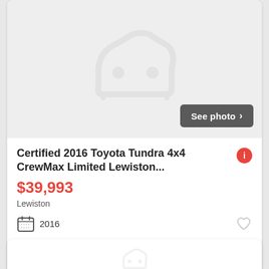[Figure (illustration): Placeholder car silhouette icon on light gray background with 'See photo >' button in dark gray bottom-right]
Certified 2016 Toyota Tundra 4x4 CrewMax Limited Lewiston...
$39,993
Lewiston
2016
2 days ago